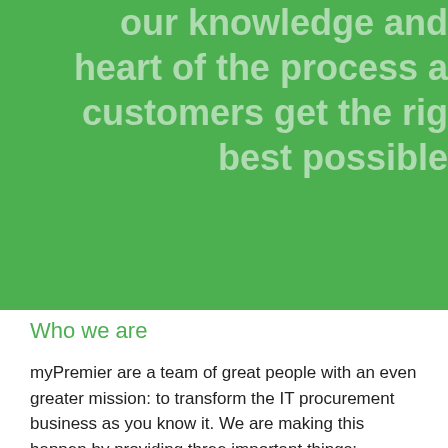our knowledge and heart of the process a customers get the rig best possible
Who we are
myPremier are a team of great people with an even greater mission: to transform the IT procurement business as you know it. We are making this happen by providing three important things: outstanding service, amazing prices and knowledge you can trust.
Our people have been carefully chosen to deliver our mission, and as a result we are souped-up and grouped-up, ready to build effective relationships with